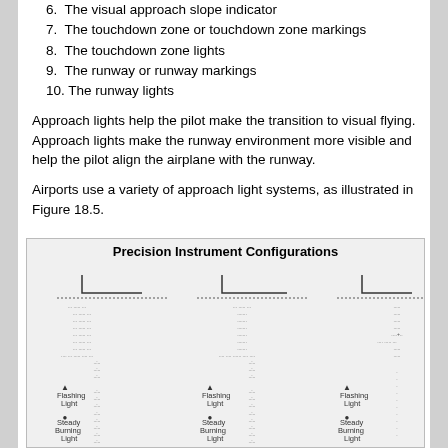6. The visual approach slope indicator
7. The touchdown zone or touchdown zone markings
8. The touchdown zone lights
9. The runway or runway markings
10. The runway lights
Approach lights help the pilot make the transition to visual flying. Approach lights make the runway environment more visible and help the pilot align the airplane with the runway.
Airports use a variety of approach light systems, as illustrated in Figure 18.5.
[Figure (illustration): Precision Instrument Configurations diagram showing three approach lighting system configurations (ALSF-2, ALSF-1, SSALR) each with a runway threshold symbol at top, rows of dots representing lights, legends for Flashing Light (triangle) and Steady Burning Light (circle), and labels at bottom.]